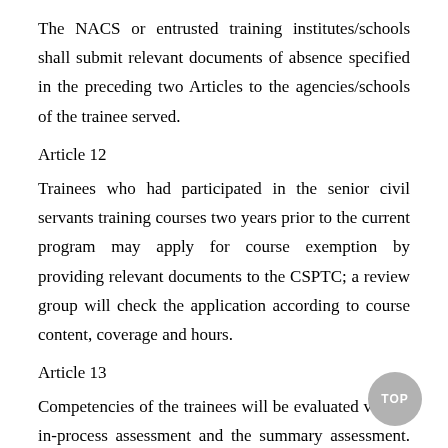The NACS or entrusted training institutes/schools shall submit relevant documents of absence specified in the preceding two Articles to the agencies/schools of the trainee served.
Article 12
Trainees who had participated in the senior civil servants training courses two years prior to the current program may apply for course exemption by providing relevant documents to the CSPTC; a review group will check the application according to course content, coverage and hours.
Article 13
Competencies of the trainees will be evaluated via the in-process assessment and the summary assessment. The in-process assessment consists of:
1.Behavior-based evaluation.
2.Teaching and learning evaluation.
3.[additional item partially visible]